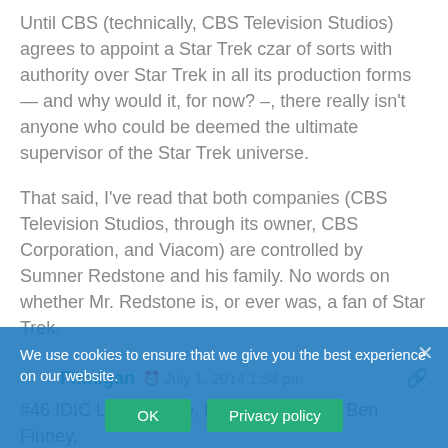Until CBS (technically, CBS Television Studios) agrees to appoint a Star Trek czar of sorts with authority over Star Trek in all its production forms — and why would it, for now? –, there really isn't anyone who could be deemed the ultimate supervisor of the Star Trek universe.
That said, I've read that both companies (CBS Television Studios, through its owner, CBS Corporation, and Viacom) are controlled by Sumner Redstone and his family. No words on whether Mr. Redstone is, or ever was, a fan of Star Trek.
Finnigan  July 1, 2014 1:54 pm
#46 IDIC Lives! Close, but that would be Ben Finney, LCDR, Records Officer on the USS Enterprise. No relation to Upper Class...Sean Finnigan, one of Jimmy Boy's "friends" the Academy.
We use cookies to ensure that we give you the best experience on our website.